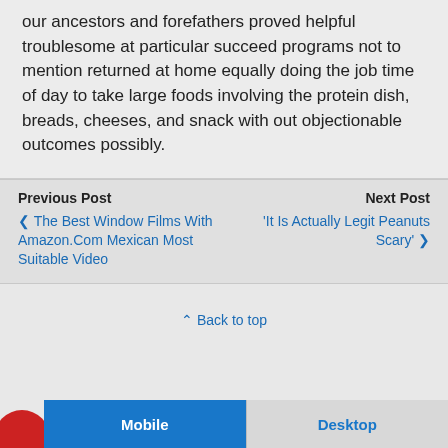our ancestors and forefathers proved helpful troublesome at particular succeed programs not to mention returned at home equally doing the job time of day to take large foods involving the protein dish, breads, cheeses, and snack with out objectionable outcomes possibly.
Previous Post
Next Post
❮ The Best Window Films With Amazon.Com Mexican Most Suitable Video
'It Is Actually Legit Peanuts Scary' ❯
⌃ Back to top
Mobile
Desktop